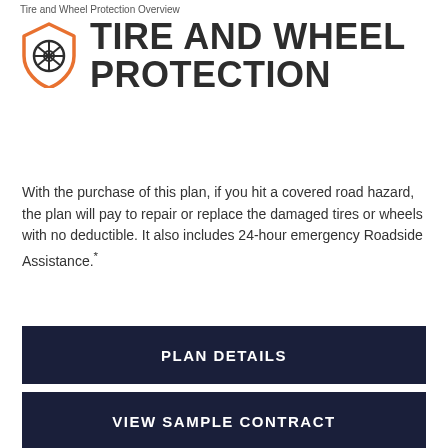Tire and Wheel Protection Overview
TIRE AND WHEEL PROTECTION
With the purchase of this plan, if you hit a covered road hazard, the plan will pay to repair or replace the damaged tires or wheels with no deductible. It also includes 24-hour emergency Roadside Assistance.*
PLAN DETAILS
VIEW SAMPLE CONTRACT
Buick Protection can offer you the kind of confidence and comfort at helps enhance your ownership experience.